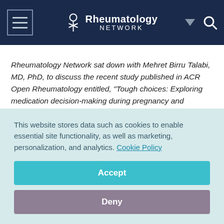Rheumatology Network
Rheumatology Network sat down with Mehret Birru Talabi, MD, PhD, to discuss the recent study published in ACR Open Rheumatology entitled, “Tough choices: Exploring medication decision-making during pregnancy and lactation among women with inflammatory arthritis.”
This website stores data such as cookies to enable essential site functionality, as well as marketing, personalization, and analytics. Cookie Policy
Accept
Deny